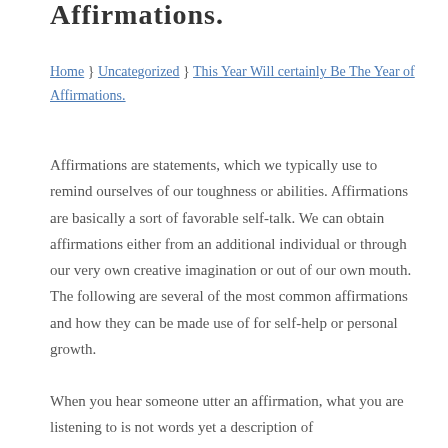Affirmations.
Home } Uncategorized } This Year Will certainly Be The Year of Affirmations.
Affirmations are statements, which we typically use to remind ourselves of our toughness or abilities. Affirmations are basically a sort of favorable self-talk. We can obtain affirmations either from an additional individual or through our very own creative imagination or out of our own mouth. The following are several of the most common affirmations and how they can be made use of for self-help or personal growth.
When you hear someone utter an affirmation, what you are listening to is not words yet a description of